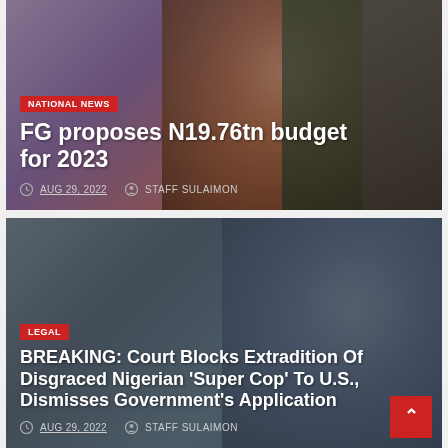[Figure (photo): News card photo: Man in blue cap seated at a desk, green chair visible. Overlaid with article headline about Nigerian budget proposal.]
NATIONAL NEWS
FG proposes N19.76tn budget for 2023
AUG 29, 2022   STAFF SULAIMON
[Figure (photo): News card photo: Two men, one in a patterned outfit, one in a blue police uniform. Overlaid with article headline about court blocking extradition.]
LEGAL
BREAKING: Court Blocks Extradition Of Disgraced Nigerian 'Super Cop' To U.S., Dismisses Government's Application
AUG 29, 2022   STAFF SULAIMON